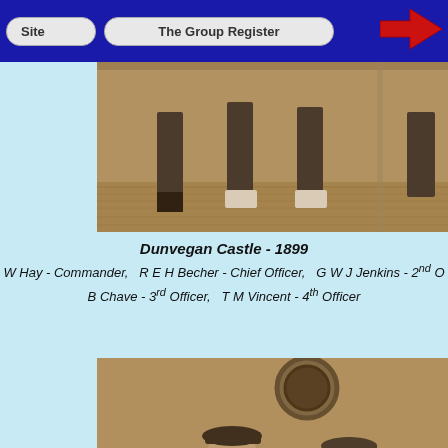Site   The Group Register
[Figure (photo): Historical sepia photograph showing the lower bodies and legs of several people standing on a ship deck, circa 1899 - upper portion of a group photo of the Dunvegan Castle officers]
Dunvegan Castle - 1899
W Hay - Commander,   R E H Becher - Chief Officer,   G W J Jenkins - 2nd O...
B Chave - 3rd Officer,   T M Vincent - 4th Officer
[Figure (photo): Historical sepia photograph showing two men in naval officers uniforms and caps sitting on a ship deck, with a porthole visible in the background]